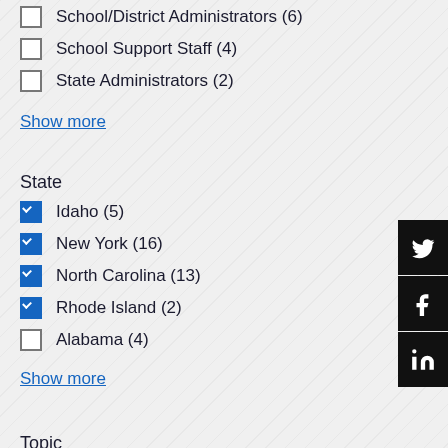School/District Administrators (6)
School Support Staff (4)
State Administrators (2)
Show more
State
Idaho (5)
New York (16)
North Carolina (13)
Rhode Island (2)
Alabama (4)
Show more
Topic
Engagement (2)
Environment (4)